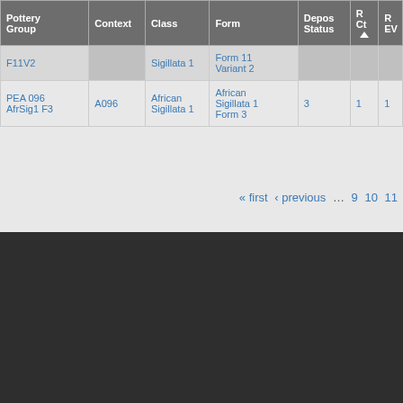| Pottery Group | Context | Class | Form | Depos Status | R Ct | R EV |
| --- | --- | --- | --- | --- | --- | --- |
| F11V2 |  | Sigillata 1 | Form 11 Variant 2 |  |  |  |
| PEA 096 AfrSig1 F3 | A096 | African Sigillata 1 | African Sigillata 1 Form 3 | 3 | 1 | 1 |
« first ‹ previous ... 9 10 11
USER LOGIN
You will be redirected to the secure CalNet login page.
Create new account